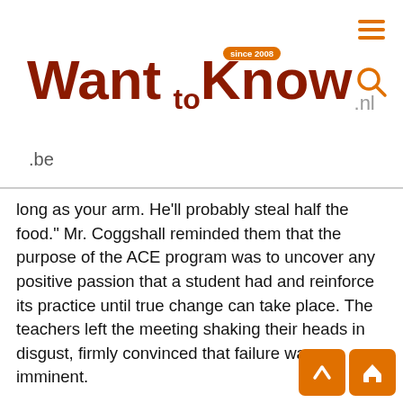WantToKnow.nl.be — since 2008
long as your arm. He'll probably steal half the food." Mr. Coggshall reminded them that the purpose of the ACE program was to uncover any positive passion that a student had and reinforce its practice until true change can take place. The teachers left the meeting shaking their heads in disgust, firmly convinced that failure was imminent.
Two weeks later, T. J. and his friends led a group of 70 students in a drive to collect food. They collected a school record: 2,854 cans of food in just two hours. It was enough to fill the empty shelves in two neighborhood centers, and the food took care of needy families in the area for 75 days. The local newspaper covered the event with a full-page article the next day. That newspaper story was...